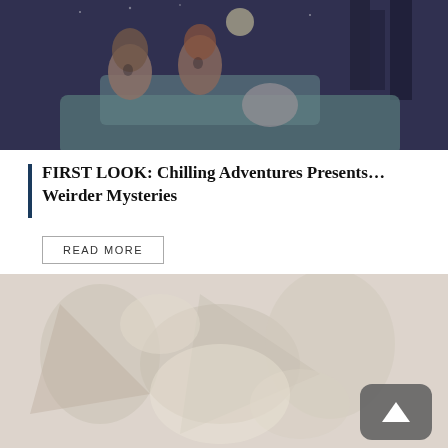[Figure (illustration): Dark nighttime illustration showing two frightened teenagers (a girl with dark hair and a boy with reddish hair) looking alarmed near a car, with a pale-faced figure visible below. Night sky with moon and trees in background.]
FIRST LOOK: Chilling Adventures Presents… Weirder Mysteries
READ MORE
[Figure (illustration): Colorful fantasy/action illustration with multiple figures in a chaotic scene, muted/washed-out appearance.]